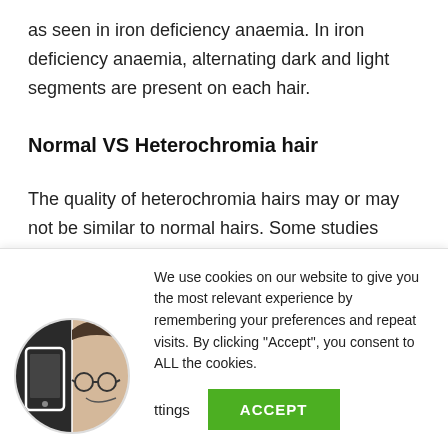as seen in iron deficiency anaemia. In iron deficiency anaemia, alternating dark and light segments are present on each hair.
Normal VS Heterochromia hair
The quality of heterochromia hairs may or may not be similar to normal hairs. Some studies reveal that they are usually thinner than the normal
We use cookies on our website to give you the most relevant experience by remembering your preferences and repeat visits. By clicking "Accept", you consent to ALL the cookies.